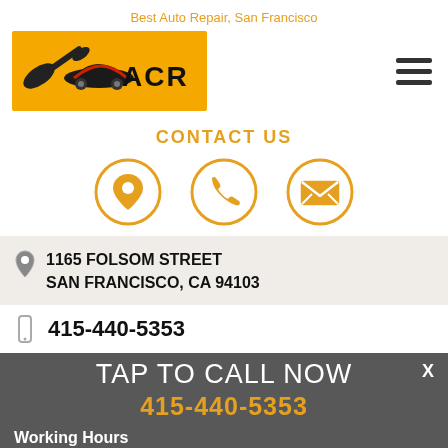Best Auto Repair, San Francisco
[Figure (logo): ACR Auto shop logo on orange background with wrench and car silhouette]
CONTACT US
[Figure (infographic): Three orange circle icons: location pin, phone handset, envelope/email]
1165 FOLSOM STREET
SAN FRANCISCO, CA 94103
415-440-5353
TAP TO CALL NOW
415-440-5353
Working Hours
Monday   8:00AM - 5:30PM
Tuesday   8:00AM - 5:30PM
Wednesday   8:00AM - 5:30PM